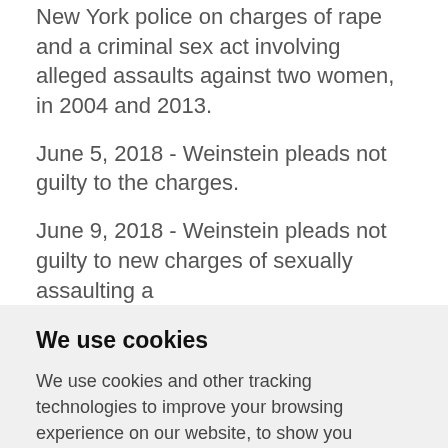New York police on charges of rape and a criminal sex act involving alleged assaults against two women, in 2004 and 2013.
June 5, 2018 - Weinstein pleads not guilty to the charges.
June 9, 2018 - Weinstein pleads not guilty to new charges of sexually assaulting a
We use cookies
We use cookies and other tracking technologies to improve your browsing experience on our website, to show you personalized content and targeted ads, to analyze our website traffic, and to understand where our visitors are coming from.